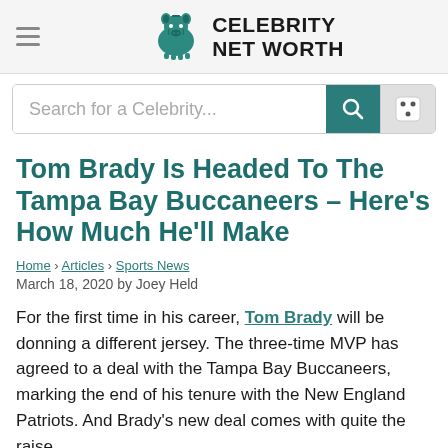Celebrity Net Worth
Tom Brady Is Headed To The Tampa Bay Buccaneers – Here's How Much He'll Make
Home › Articles › Sports News
March 18, 2020 by Joey Held
For the first time in his career, Tom Brady will be donning a different jersey. The three-time MVP has agreed to a deal with the Tampa Bay Buccaneers, marking the end of his tenure with the New England Patriots. And Brady's new deal comes with quite the raise.
The two-year contract is worth a reported $30 million per season. Brady made $23 million with the Patriots...